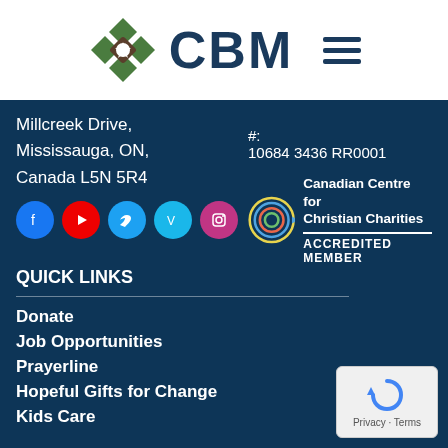CBM
Millcreek Drive, Mississauga, ON, Canada L5N 5R4
#: 10684 3436 RR0001
[Figure (logo): Social media icons: Facebook, YouTube, Twitter, Vimeo, Instagram]
[Figure (logo): Canadian Centre for Christian Charities - Accredited Member logo with circular swirl]
QUICK LINKS
Donate
Job Opportunities
Prayerline
Hopeful Gifts for Change
Kids Care
[Figure (logo): reCAPTCHA badge with Privacy and Terms links]